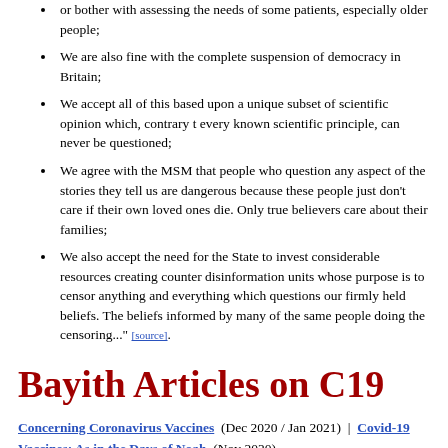or bother with assessing the needs of some patients, especially older people;
We are also fine with the complete suspension of democracy in Britain;
We accept all of this based upon a unique subset of scientific opinion which, contrary t every known scientific principle, can never be questioned;
We agree with the MSM that people who question any aspect of the stories they tell us are dangerous because these people just don't care if their own loved ones die. Only true believers care about their families;
We also accept the need for the State to invest considerable resources creating counter disinformation units whose purpose is to censor anything and everything which questions our firmly held beliefs. The beliefs informed by many of the same people doing the censoring..." [source].
Bayith Articles on C19
Concerning Coronavirus Vaccines (Dec 2020 / Jan 2021) | Covid-19 Vaccines: As in the Days of Noah (Nov 2020)
A Bit of Dirt... (Nov 2020) | Rules Are Rules! (Sept 2020) | Why I Don't Wear A Face-Mask (Aug 2020)